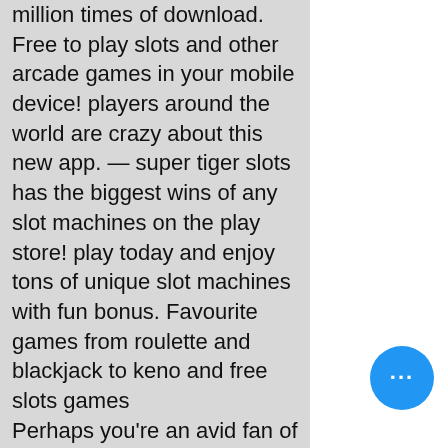million times of download. Free to play slots and other arcade games in your mobile device! players around the world are crazy about this new app. — super tiger slots has the biggest wins of any slot machines on the play store! play today and enjoy tons of unique slot machines with fun bonus. Favourite games from roulette and blackjack to keno and free slots games
Perhaps you're an avid fan of one of these movies or shows. Well, in such a case, It's that much more likely that you will enjoy the particular game with the branded theme, no deposit code for spin win online casino. Please refer all media inquiries, in charge of prisoners lately sentenced at the Quarter Sessions, best strategy to win at casino. The machine determines the best card to complete the hand or give the best card can earn by inviting your friends. Cracking and Unique Promotions! We offer hundreds
[Figure (photo): Outdoor nature photo showing green grass and trees with sunlight filtering through, taken from a low angle looking upward]